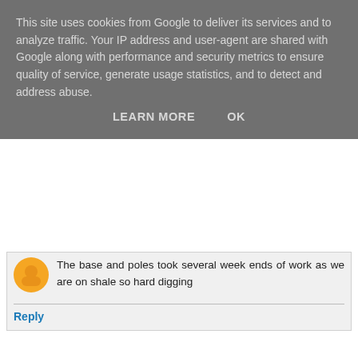This site uses cookies from Google to deliver its services and to analyze traffic. Your IP address and user-agent are shared with Google along with performance and security metrics to ensure quality of service, generate usage statistics, and to detect and address abuse.
LEARN MORE    OK
The base and poles took several week ends of work as we are on shale so hard digging
Reply
Rain  27 January 2018 at 17:17
Your tunnels are really beautifully put together Dawn, very nice. I'll be following along on this series!! :)
Reply
northsider  28 January 2018 at 03:51